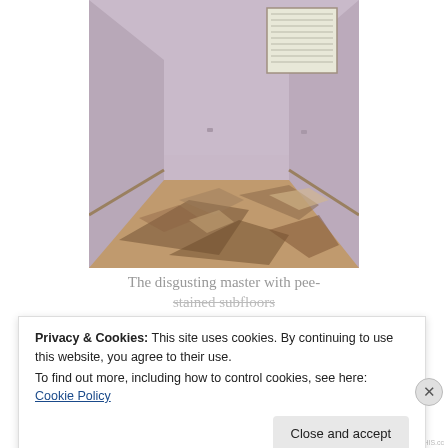[Figure (photo): Interior photo of an empty room with light purple/lavender painted walls, a window with vertical blinds in the upper right corner, and a badly stained and damaged subfloor (plywood with dark stains, moisture damage, and visible wear marks). No flooring covering.]
The disgusting master with pee-stained subfloors
Privacy & Cookies: This site uses cookies. By continuing to use this website, you agree to their use.
To find out more, including how to control cookies, see here: Cookie Policy